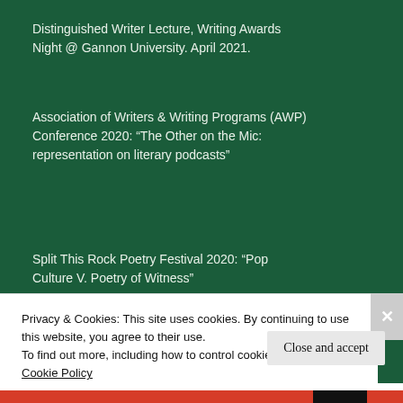Distinguished Writer Lecture, Writing Awards Night @ Gannon University. April 2021.
Association of Writers & Writing Programs (AWP) Conference 2020: “The Other on the Mic: representation on literary podcasts”
Split This Rock Poetry Festival 2020: “Pop Culture V. Poetry of Witness”
Share this:
Privacy & Cookies: This site uses cookies. By continuing to use this website, you agree to their use.
To find out more, including how to control cookies, see here: Cookie Policy